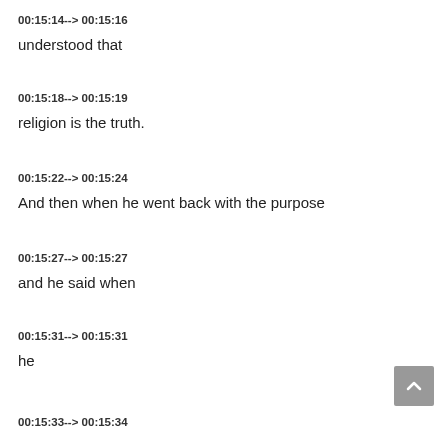00:15:14--> 00:15:16
understood that
00:15:18--> 00:15:19
religion is the truth.
00:15:22--> 00:15:24
And then when he went back with the purpose
00:15:27--> 00:15:27
and he said when
00:15:31--> 00:15:31
he
00:15:33--> 00:15:34